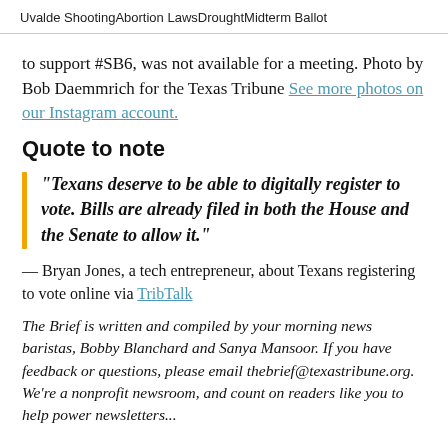Uvalde Shooting   Abortion Laws   Drought   Midterm Ballot
to support #SB6, was not available for a meeting. Photo by Bob Daemmrich for the Texas Tribune See more photos on our Instagram account.
Quote to note
"Texans deserve to be able to digitally register to vote. Bills are already filed in both the House and the Senate to allow it."
— Bryan Jones, a tech entrepreneur, about Texans registering to vote online via TribTalk
The Brief is written and compiled by your morning news baristas, Bobby Blanchard and Sanya Mansoor. If you have feedback or questions, please email thebrief@texastribune.org. We're a nonprofit newsroom, and count on readers like you to help power newsletters...